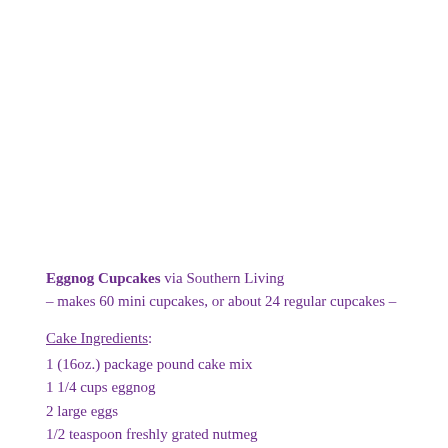Eggnog Cupcakes via Southern Living
– makes 60 mini cupcakes, or about 24 regular cupcakes –
Cake Ingredients:
1 (16oz.) package pound cake mix
1 1/4 cups eggnog
2 large eggs
1/2 teaspoon freshly grated nutmeg